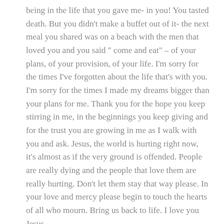being in the life that you gave me- in you! You tasted death. But you didn't make a buffet out of it- the next meal you shared was on a beach with the men that loved you and you said " come and eat" – of your plans, of your provision, of your life. I'm sorry for the times I've forgotten about the life that's with you. I'm sorry for the times I made my dreams bigger than your plans for me. Thank you for the hope you keep stirring in me, in the beginnings you keep giving and for the trust you are growing in me as I walk with you and ask. Jesus, the world is hurting right now, it's almost as if the very ground is offended. People are really dying and the people that love them are really hurting. Don't let them stay that way please. In your love and mercy please begin to touch the hearts of all who mourn. Bring us back to life. I love you Jesus.